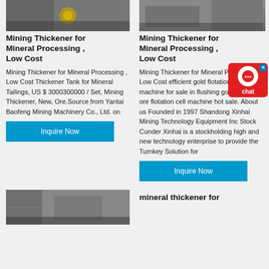[Figure (photo): Mining thickener equipment photo - left]
Mining Thickener for Mineral Processing , Low Cost
Mining Thickener for Mineral Processing , Low Cost Thickener Tank for Mineral Tailings, US $ 3000300000 / Set, Mining Thickener, New, Ore.Source from Yantai Baofeng Mining Machinery Co., Ltd. on
[Figure (photo): Mining thickener equipment photo - right]
Mining Thickener for Mineral Processing , Low Cost
Mining Thickener for Mineral Processing Low Cost efficient gold flotation cell machine for sale in flushing gold mining ore flotation cell machine hot sale. About us Founded in 1997 Shandong Xinhai Mining Technology Equipment Inc Stock Cunder Xinhai is a stockholding high and new technology enterprise to provide the Turnkey Solution for
Inquire Now
Inquire Now
[Figure (photo): Mining facility aerial photo - bottom left]
mineral thickener for